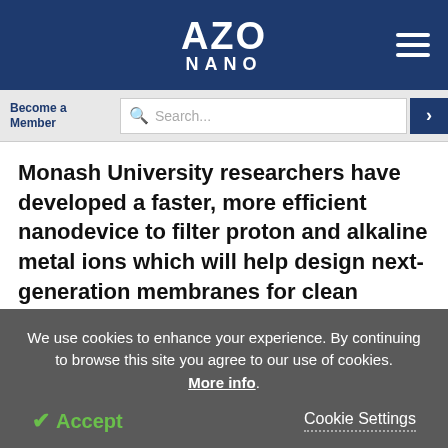AZO NANO
Become a Member
Search...
Monash University researchers have developed a faster, more efficient nanodevice to filter proton and alkaline metal ions which will help design next-generation membranes for clean energy technology, conversion and storage.
We use cookies to enhance your experience. By continuing to browse this site you agree to our use of cookies. More info.
Accept
Cookie Settings